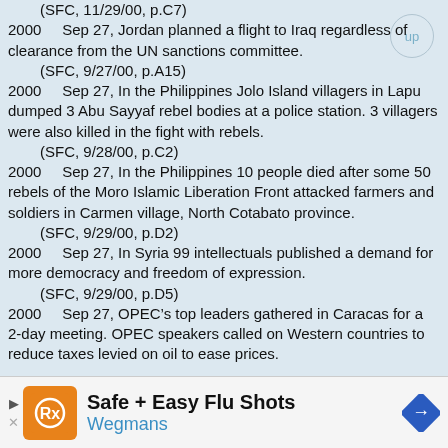(SFC, 11/29/00, p.C7)
2000     Sep 27, Jordan planned a flight to Iraq regardless of clearance from the UN sanctions committee.
(SFC, 9/27/00, p.A15)
2000     Sep 27, In the Philippines Jolo Island villagers in Lapu dumped 3 Abu Sayyaf rebel bodies at a police station. 3 villagers were also killed in the fight with rebels.
(SFC, 9/28/00, p.C2)
2000     Sep 27, In the Philippines 10 people died after some 50 rebels of the Moro Islamic Liberation Front attacked farmers and soldiers in Carmen village, North Cotabato province.
(SFC, 9/29/00, p.D2)
2000     Sep 27, In Syria 99 intellectuals published a demand for more democracy and freedom of expression.
(SFC, 9/29/00, p.D5)
2000     Sep 27, OPEC’s top leaders gathered in Caracas for a 2-day meeting. OPEC speakers called on Western countries to reduce taxes levied on oil to ease prices.
[Figure (infographic): Advertisement banner for Wegmans Safe + Easy Flu Shots with orange logo, play button, text and blue diamond arrow]